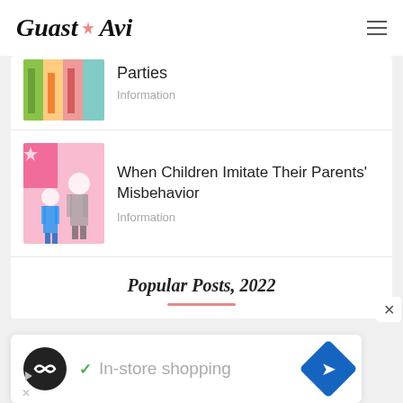Guast Avi
Parties
Information
When Children Imitate Their Parents' Misbehavior
Information
Popular Posts, 2022
[Figure (photo): Ad banner showing a map/navigation app icon with In-store shopping text and a navigation arrow icon]
In-store shopping